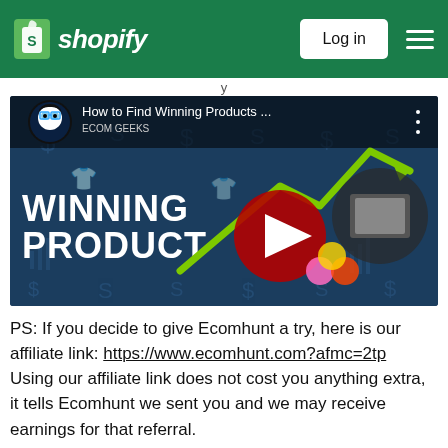shopify  Log in
[Figure (screenshot): YouTube video thumbnail titled 'How to Find Winning Products ...' showing a video player with a red play button, bold white text 'WINNING PRODUCT' on dark background, a green upward arrow, product images including fidget toys, and a cartoon avatar icon for the channel.]
PS: If you decide to give Ecomhunt a try, here is our affiliate link: https://www.ecomhunt.com?afmc=2tp
Using our affiliate link does not cost you anything extra, it tells Ecomhunt we sent you and we may receive earnings for that referral.
We hope our response was helpful, if it was, let us